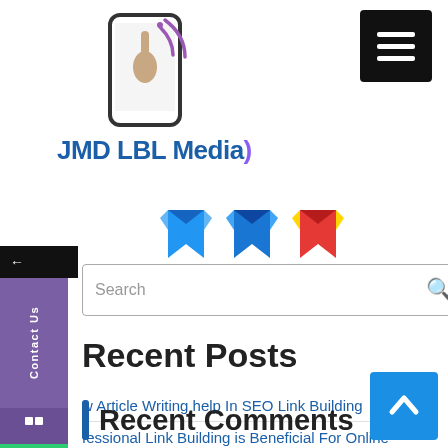[Figure (logo): JMD LBL Media logo with smartphone icon and purple wifi signal]
[Figure (illustration): Three social media bookmark icons: two blue, one red/yellow]
[Figure (screenshot): Search bar with magnifying glass icon]
[Figure (screenshot): Left sidebar with dark and purple sections showing Contact Us text and phone icon]
Recent Posts
w Article Writing help In SEO Link Building
fessional Link Building is Beneficial For Online Business
o Outsourcing
Get Article Marketing Services at Affordable price
Link Building Services Company in India
Recent Comments